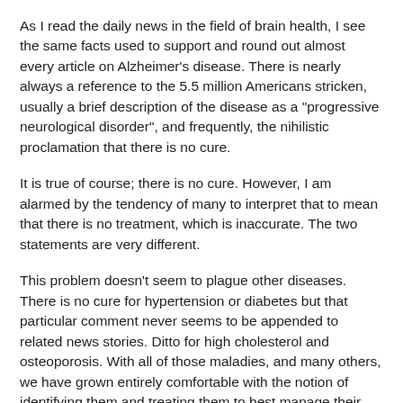As I read the daily news in the field of brain health, I see the same facts used to support and round out almost every article on Alzheimer's disease. There is nearly always a reference to the 5.5 million Americans stricken, usually a brief description of the disease as a "progressive neurological disorder", and frequently, the nihilistic proclamation that there is no cure.
It is true of course; there is no cure. However, I am alarmed by the tendency of many to interpret that to mean that there is no treatment, which is inaccurate. The two statements are very different.
This problem doesn't seem to plague other diseases. There is no cure for hypertension or diabetes but that particular comment never seems to be appended to related news stories. Ditto for high cholesterol and osteoporosis. With all of those maladies, and many others, we have grown entirely comfortable with the notion of identifying them and treating them to best manage their forward course.
The reality is that Alzheimer's disease can be treated. Not